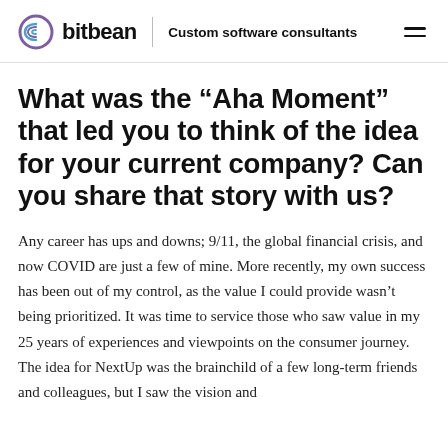bitbean | Custom software consultants
What was the “Aha Moment” that led you to think of the idea for your current company? Can you share that story with us?
Any career has ups and downs; 9/11, the global financial crisis, and now COVID are just a few of mine. More recently, my own success has been out of my control, as the value I could provide wasn’t being prioritized. It was time to service those who saw value in my 25 years of experiences and viewpoints on the consumer journey. The idea for NextUp was the brainchild of a few long-term friends and colleagues, but I saw the vision and